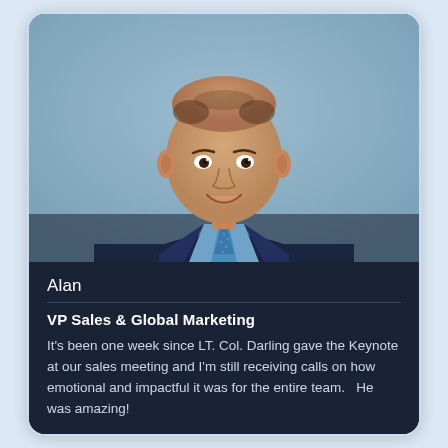[Figure (photo): Professional headshot of a middle-aged man in a dark navy suit, light blue shirt, and teal/blue patterned tie, smiling, against a light blue-grey background.]
Alan
VP Sales & Global Marketing
It's been one week since LT. Col. Darling gave the Keynote at our sales meeting and I'm still receiving calls on how emotional and impactful it was for the entire team.   He was amazing!